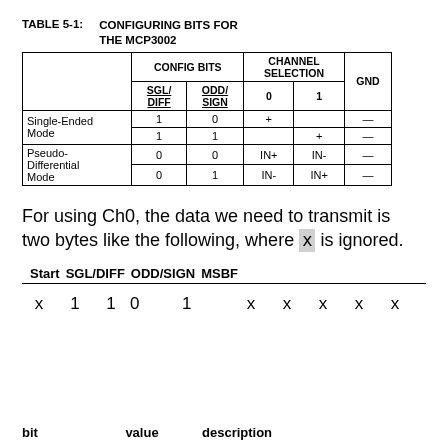TABLE 5-1: CONFIGURING BITS FOR THE MCP3002
|  | SGL/DIFF | ODD/SIGN | 0 | 1 | GND |
| --- | --- | --- | --- | --- | --- |
| Single-Ended Mode | 1 | 0 | + |  | — |
| Single-Ended Mode | 1 | 1 |  | + | — |
| Pseudo-Differential Mode | 0 | 0 | IN+ | IN- | — |
| Pseudo-Differential Mode | 0 | 1 | IN- | IN+ | — |
For using Ch0, the data we need to transmit is two bytes like the following, where x is ignored.
| Start | SGL/DIFF | ODD/SIGN | MSBF |
| --- | --- | --- | --- |
| x | 1 | 1 | 0 | 1 | x | x | x | x | x |
bit    value    description